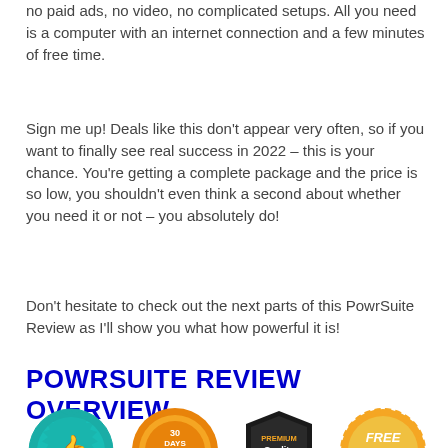no paid ads, no video, no complicated setups. All you need is a computer with an internet connection and a few minutes of free time.
Sign me up! Deals like this don't appear very often, so if you want to finally see real success in 2022 – this is your chance. You're getting a complete package and the price is so low, you shouldn't even think a second about whether you need it or not – you absolutely do!
Don't hesitate to check out the next parts of this PowrSuite Review as I'll show you what how powerful it is!
POWRSUITE REVIEW OVERVIEW
[Figure (illustration): Four badge icons: a teal thumbs-up badge, an orange 30 Days Money Back Guarantee badge, a black and gold Premium Quality shield badge, and an orange Free Bonus badge.]